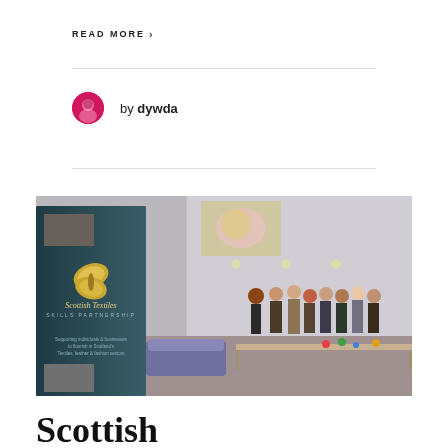READ MORE >
by dywda
[Figure (photo): Indoor event or networking scene with a Scottish Textiles Skills Partnership banner in the foreground (dark teal with gold butterfly logo), and groups of people standing around tables in the background inside a large room.]
Scottish